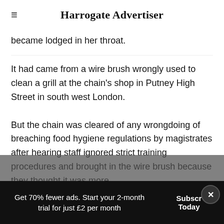Harrogate Advertiser
became lodged in her throat.
It had came from a wire brush wrongly used to clean a grill at the chain's shop in Putney High Street in south west London.
But the chain was cleared of any wrongdoing of breaching food hygiene regulations by magistrates after hearing staff ignored strict training procedures and brought in the wire brush because they thought it was more
Get 70% fewer ads. Start your 2-month trial for just £2 per month
Subscribe Today